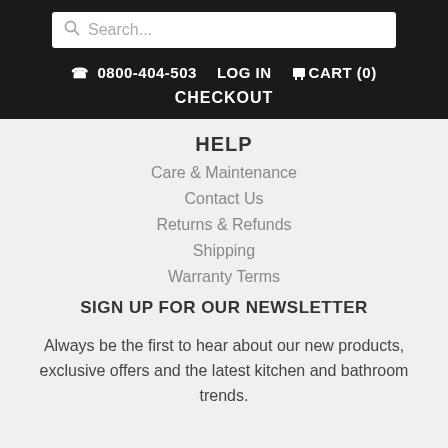Search...
☎ 0800-404-503   LOG IN   🛒 CART (0)   CHECKOUT
HELP
Care & Maintenance
Contact Us
Returns & Refunds
Shipping
Warranty Terms
SIGN UP FOR OUR NEWSLETTER
Always be the first to hear about our new products, exclusive offers and the latest kitchen and bathroom trends.